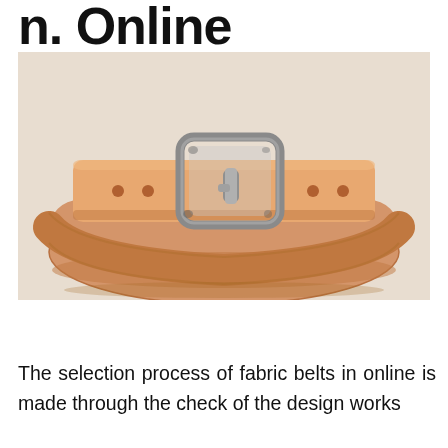n. Online
[Figure (photo): A tan/natural leather belt coiled and resting on a light surface, showing the silver metal buckle prominently.]
The selection process of fabric belts in online is made through the check of the design works